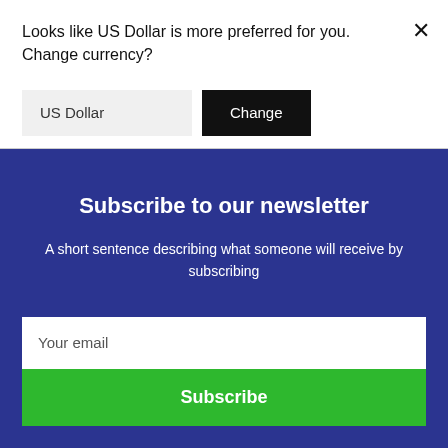Looks like US Dollar is more preferred for you. Change currency?
US Dollar
Change
Subscribe to our newsletter
A short sentence describing what someone will receive by subscribing
Your email
Subscribe